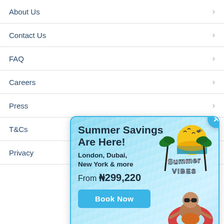About Us
Contact Us
FAQ
Careers
Press
T&Cs
Privacy
[Figure (illustration): Popup advertisement for Summer Savings with pool background, baby on floatie, Summer VIBES logo, destinations London/Dubai/New York, price from ₦299,220, Book Now button, and close X button]
Secured by: